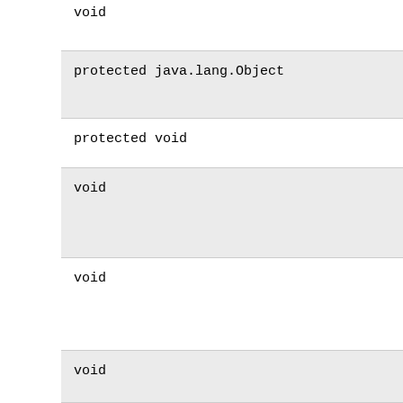void
protected java.lang.Object
protected void
void
void
void